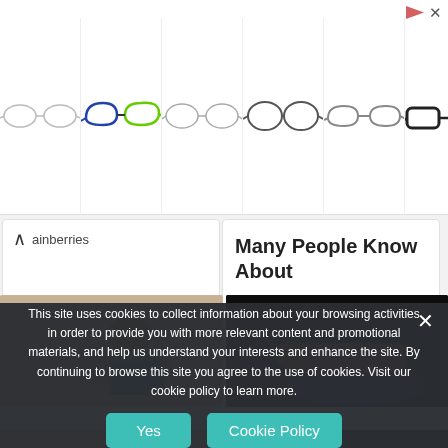[Figure (screenshot): Advertisement banner showing multiple eyeglasses frames in white cells, with a glasses.etc logo on the right, and ad control icons (play and close) in top right corner.]
ainberries
Many People Know About
Herbeauty
[Figure (photo): Overhead view of a young woman with dark hair sitting on the floor using a laptop computer.]
[Figure (photo): Woman in pink athletic wear doing a plank exercise on a colorful yoga mat in a dark room.]
This site uses cookies to collect information about your browsing activities in order to provide you with more relevant content and promotional materials, and help us understand your interests and enhance the site. By continuing to browse this site you agree to the use of cookies. Visit our cookie policy to learn more.
Yes
Cookie Policy